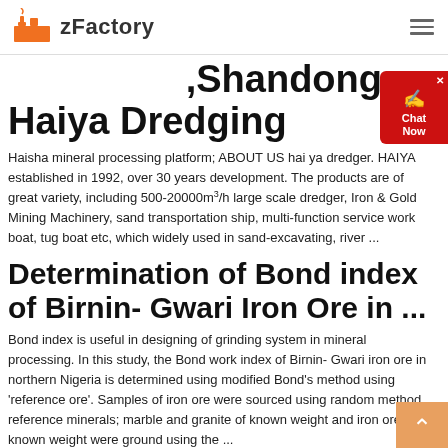zFactory
,Shandong Haiya Dredging
Haisha mineral processing platform; ABOUT US hai ya dredger. HAIYA established in 1992, over 30 years development. The products are of great variety, including 500-20000m³/h large scale dredger, Iron & Gold Mining Machinery, sand transportation ship, multi-function service work boat, tug boat etc, which widely used in sand-excavating, river ...
Determination of Bond index of Birnin- Gwari Iron Ore in ...
Bond index is useful in designing of grinding system in mineral processing. In this study, the Bond work index of Birnin- Gwari iron ore in northern Nigeria is determined using modified Bond's method using 'reference ore'. Samples of iron ore were sourced using random method, reference minerals; marble and granite of known weight and iron ore of known weight were ground using the ...